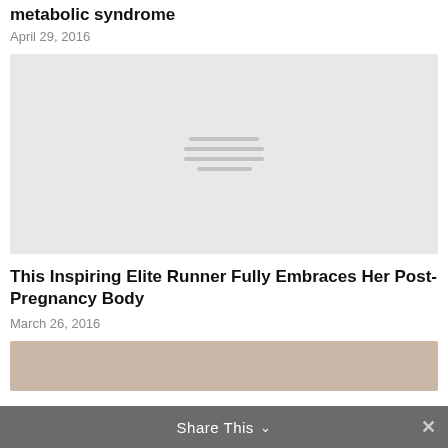metabolic syndrome
April 29, 2016
[Figure (photo): Image placeholder with loading lines for article about metabolic syndrome]
This Inspiring Elite Runner Fully Embraces Her Post-Pregnancy Body
March 26, 2016
[Figure (photo): Partial image at bottom of page, brownish/warm toned photo]
Share This ∨  ✕